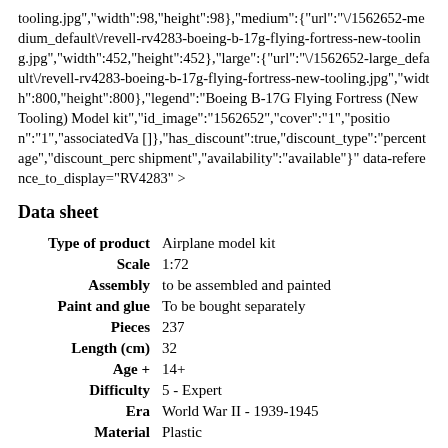tooling.jpg","width":98,"height":98},{"medium":{"url":"\/1562652-medium_default\/revell-rv4283-boeing-b-17g-flying-fortress-new-tooling.jpg","width":452,"height":452},{"large":{"url":"\/1562652-large_default\/revell-rv4283-boeing-b-17g-flying-fortress-new-tooling.jpg","width":800,"height":800},"legend":"Boeing B-17G Flying Fortress (New Tooling) Model kit","id_image":"1562652","cover":"1","position":"1","associatedVa []},"has_discount":true,"discount_type":"percentage","discount_perc shipment","availability":"available"}" data-reference_to_display="RV4283" >
Data sheet
| Attribute | Value |
| --- | --- |
| Type of product | Airplane model kit |
| Scale | 1:72 |
| Assembly | to be assembled and painted |
| Paint and glue | To be bought separately |
| Pieces | 237 |
| Length (cm) | 32 |
| Age + | 14+ |
| Difficulty | 5 - Expert |
| Era | World War II - 1939-1945 |
| Material | Plastic |